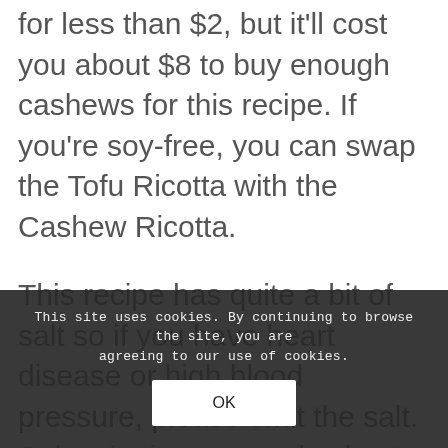for less than $2, but it'll cost you about $8 to buy enough cashews for this recipe. If you're soy-free, you can swap the Tofu Ricotta with the Cashew Ricotta.
This recipe has quite a bit of salt so if you have heart disease or high blood pressure, please omit the salt. Salt substitutes are also best to be avoided if you have these health issues or kidney disease.
Tomato Sauce
This site uses cookies. By continuing to browse the site, you are agreeing to our use of cookies.